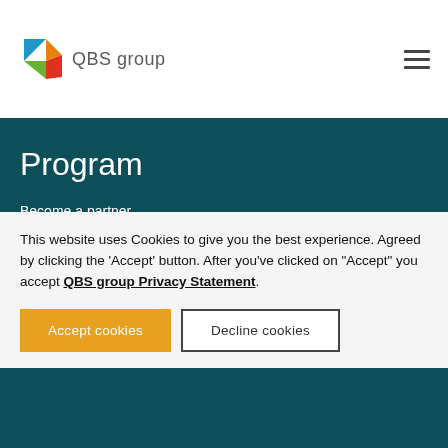QBS group
Program
Become a partner
Indirect CSP for Microsoft Resellers
ISV Program
This website uses Cookies to give you the best experience. Agreed by clicking the 'Accept' button. After you've clicked on "Accept" you accept QBS group Privacy Statement.
Accept cookies
Decline cookies
Info for...
References